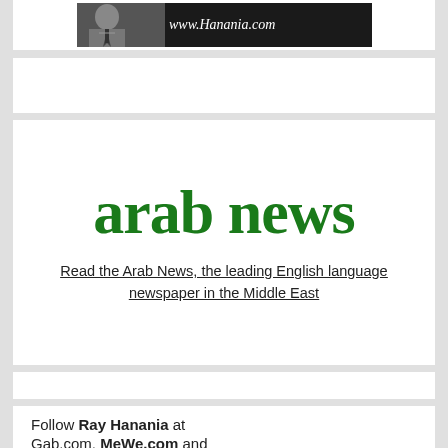[Figure (photo): Black and white photo of a person with www.Hanania.com text on a dark banner]
[Figure (logo): Arab News logo in dark green Gothic/blackletter typeface]
Read the Arab News, the leading English language newspaper in the Middle East
Follow Ray Hanania at Gab.com, MeWe.com and